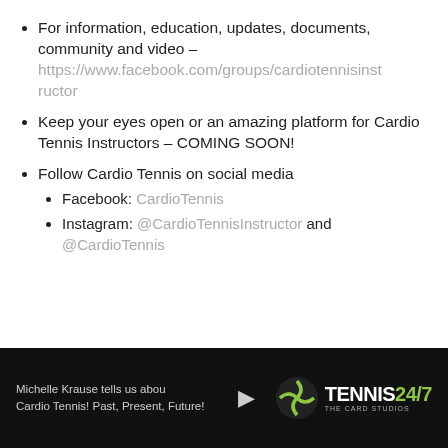For information, education, updates, documents, community and video – https://www.facebook.com/groups/cardiotennisinstructor
Keep your eyes open or an amazing platform for Cardio Tennis Instructors – COMING SOON!
Follow Cardio Tennis on social media
Facebook: CardioTennis
Instagram: @CardioTennisInstructor and @CardioTennis
[Figure (screenshot): Dark footer bar showing a video thumbnail for 'Michelle Krause tells us about Cardio Tennis! Past, Present, Future!' with a play button and the Tennis 24/7 logo.]